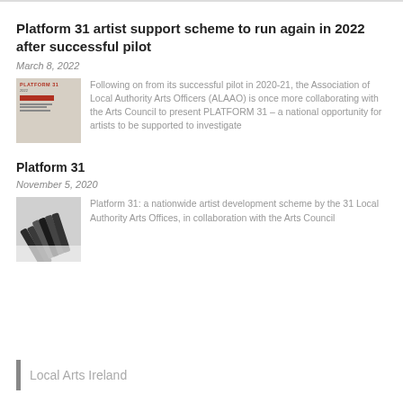Platform 31 artist support scheme to run again in 2022 after successful pilot
March 8, 2022
[Figure (photo): Thumbnail image of Platform 31 publication cover with red banner and text]
Following on from its successful pilot in 2020-21, the Association of Local Authority Arts Officers (ALAAO) is once more collaborating with the Arts Council to present PLATFORM 31 – a national opportunity for artists to be supported to investigate
Platform 31
November 5, 2020
[Figure (photo): Thumbnail image showing pencils/art supplies on a white background]
Platform 31: a nationwide artist development scheme by the 31 Local Authority Arts Offices, in collaboration with the Arts Council
Local Arts Ireland